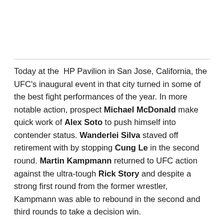Today at the HP Pavilion in San Jose, California, the UFC's inaugural event in that city turned in some of the best fight performances of the year. In more notable action, prospect Michael McDonald make quick work of Alex Soto to push himself into contender status. Wanderlei Silva staved off retirement with by stopping Cung Le in the second round. Martin Kampmann returned to UFC action against the ultra-tough Rick Story and despite a strong first round from the former wrestler, Kampmann was able to rebound in the second and third rounds to take a decision win.